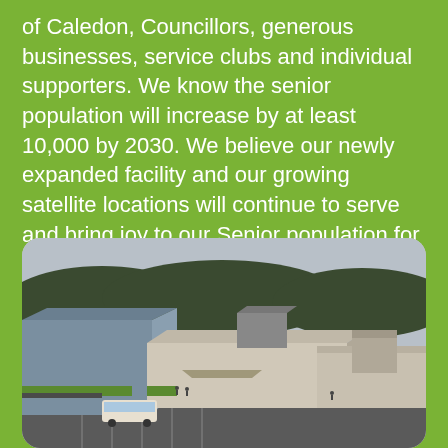of Caledon, Councillors, generous businesses, service clubs and individual supporters. We know the senior population will increase by at least 10,000 by 2030. We believe our newly expanded facility and our growing satellite locations will continue to serve and bring joy to our Senior population for many years. Thank you for your support!
[Figure (photo): Aerial rendering of an expanded senior centre facility showing a large modern building complex with flat roofs, a parking lot with a bus, and surrounding greenery and hills in the background.]